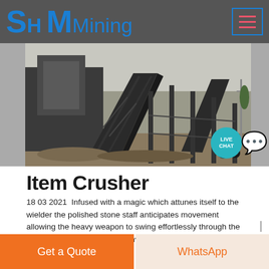SH MMining
[Figure (photo): Industrial mining conveyor belt and crushing equipment on a construction/mining site, dark metal structures against a grey sky]
[Figure (infographic): Live Chat speech bubble widget in teal/purple]
Item Crusher
18 03 2021  Infused with a magic which attunes itself to the wielder the polished stone staff anticipates movement allowing the heavy weapon to swing effortlessly through the air Tips Crusher is the only Unverified only has not
Click to chat
Get a Quote    WhatsApp